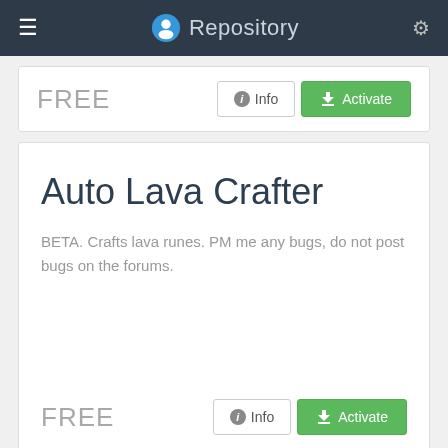Repository
FREE
Info
Activate
Auto Lava Crafter
BETA. Crafts lava runes. PM me any bugs, do not post bugs on the forums.
FREE
Info
Activate